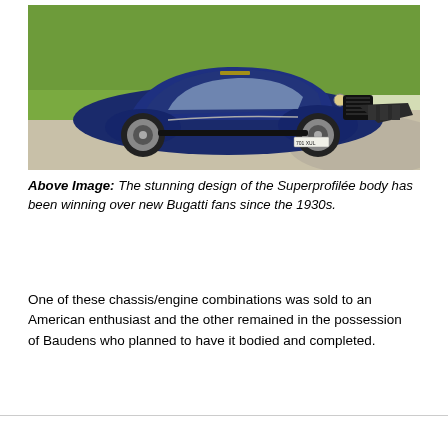[Figure (photo): A vintage blue Bugatti with Superprofilée body design, photographed on a driveway with green lawn in the background. The car has large round headlights, sweeping fenders, and a dark navy blue coupe body. License plate reads 701 XUL.]
Above Image: The stunning design of the Superprofilée body has been winning over new Bugatti fans since the 1930s.
One of these chassis/engine combinations was sold to an American enthusiast and the other remained in the possession of Baudens who planned to have it bodied and completed.